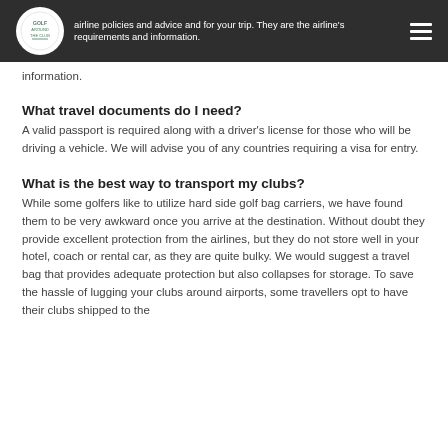Golf Around The Club — airline policies and advice and for your trip. They are the airline's requirements and information.
airline policies and advice and for your trip. They are the airline's requirements and information.
What travel documents do I need?
A valid passport is required along with a driver's license for those who will be driving a vehicle. We will advise you of any countries requiring a visa for entry.
What is the best way to transport my clubs?
While some golfers like to utilize hard side golf bag carriers, we have found them to be very awkward once you arrive at the destination. Without doubt they provide excellent protection from the airlines, but they do not store well in your hotel, coach or rental car, as they are quite bulky. We would suggest a travel bag that provides adequate protection but also collapses for storage. To save the hassle of lugging your clubs around airports, some travellers opt to have their clubs shipped to the